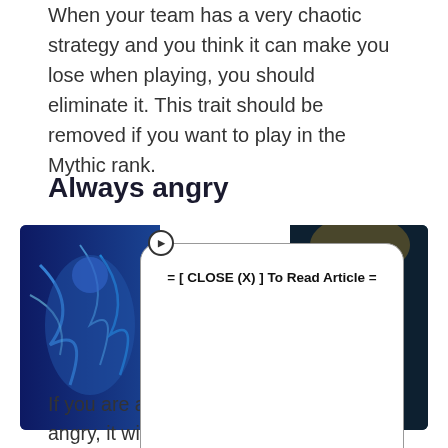When your team has a very chaotic strategy and you think it can make you lose when playing, you should eliminate it. This trait should be removed if you want to play in the Mythic rank.
Always angry
[Figure (screenshot): Mobile Legends game screenshot with a white ad overlay box showing '= [ CLOSE (X) ] To Read Article =' and a close button circle icon in the top-left corner of the ad box]
If you are always emotional and often angry, it will be